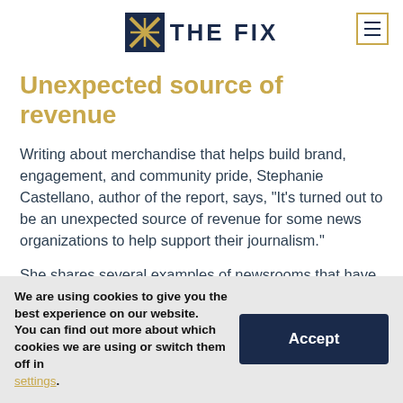THE FIX
Unexpected source of revenue
Writing about merchandise that helps build brand, engagement, and community pride, Stephanie Castellano, author of the report, says, “It’s turned out to be an unexpected source of revenue for some news organizations to help support their journalism.”
She shares several examples of newsrooms that have
We are using cookies to give you the best experience on our website.
You can find out more about which cookies we are using or switch them off in settings.